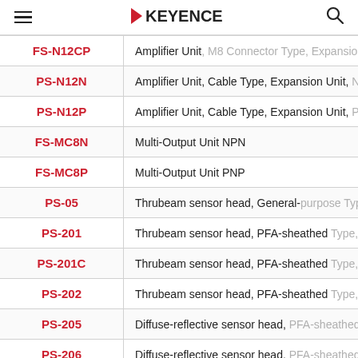KEYENCE
| Model | Description |
| --- | --- |
| FS-N12CP | Amplifier Unit, M8 Connector Type, Expansion U... |
| PS-N12N | Amplifier Unit, Cable Type, Expansion Unit, NPN |
| PS-N12P | Amplifier Unit, Cable Type, Expansion Unit, PNP |
| FS-MC8N | Multi-Output Unit NPN |
| FS-MC8P | Multi-Output Unit PNP |
| PS-05 | Thrubeam sensor head, General-purpose Type, F... |
| PS-201 | Thrubeam sensor head, PFA-sheathed Type, Long... |
| PS-201C | Thrubeam sensor head, PFA-sheathed Type, Long... |
| PS-202 | Thrubeam sensor head, PFA-sheathed Type, Aper... |
| PS-205 | Diffuse-reflective sensor head, PFA-sheathed Ty... |
| PS-206 | Diffuse-reflective sensor head, PFA-sheathed... |